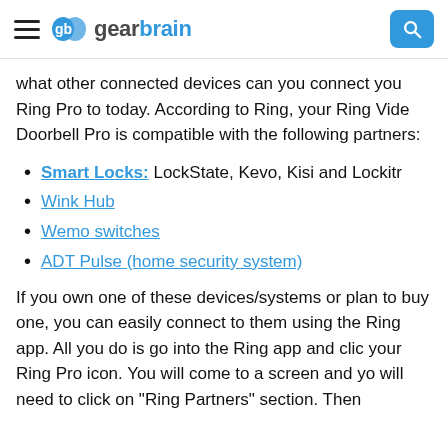gearbrain
what other connected devices can you connect your Ring Pro to today. According to Ring, your Ring Video Doorbell Pro is compatible with the following partners:
Smart Locks: LockState, Kevo, Kisi and Lockitro
Wink Hub
Wemo switches
ADT Pulse (home security system)
If you own one of these devices/systems or plan to buy one, you can easily connect to them using the Ring app. All you do is go into the Ring app and click your Ring Pro icon. You will come to a screen and you will need to click on "Ring Partners" section. Then